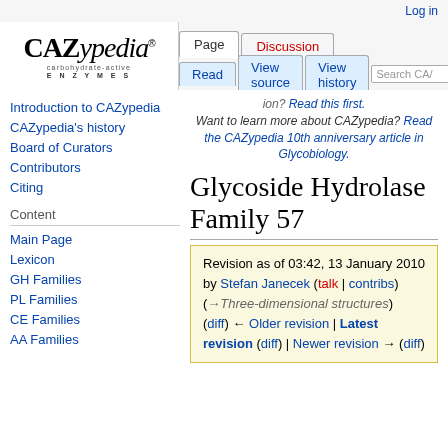Log in
[Figure (logo): CAZypedia logo with text 'carbohydrate-active ENZYMES']
Page | Discussion | Read | View source | View history | Search CA/
ion? Read this first. Want to learn more about CAZypedia? Read the CAZypedia 10th anniversary article in Glycobiology.
Glycoside Hydrolase Family 57
Revision as of 03:42, 13 January 2010 by Stefan Janecek (talk | contribs) (→Three-dimensional structures) (diff) ← Older revision | Latest revision (diff) | Newer revision → (diff)
Introduction to CAZypedia
CAZypedia's history
Board of Curators
Contributors
Citing
Content
Main Page
Lexicon
GH Families
PL Families
CE Families
AA Families